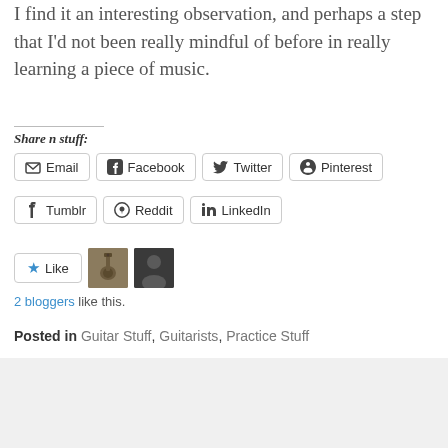I find it an interesting observation, and perhaps a step that I'd not been really mindful of before in really learning a piece of music.
Share n stuff:
[Figure (other): Social share buttons row 1: Email, Facebook, Twitter, Pinterest]
[Figure (other): Social share buttons row 2: Tumblr, Reddit, LinkedIn]
[Figure (other): Like button with star icon and two blogger avatars]
2 bloggers like this.
Posted in Guitar Stuff, Guitarists, Practice Stuff
[Figure (other): DuckDuckGo advertisement banner: Search, browse, and email with more privacy. All in One Free App.]